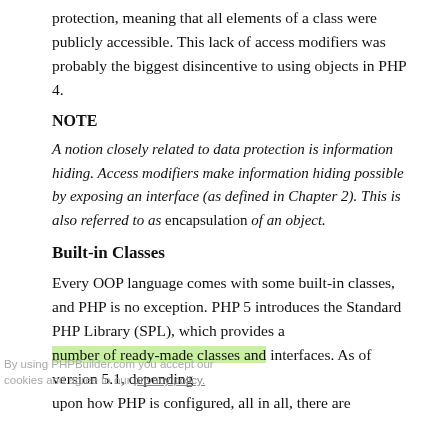protection, meaning that all elements of a class were publicly accessible. This lack of access modifiers was probably the biggest disincentive to using objects in PHP 4.
NOTE
A notion closely related to data protection is information hiding. Access modifiers make information hiding possible by exposing an interface (as defined in Chapter 2). This is also referred to as encapsulation of an object.
Built-in Classes
Every OOP language comes with some built-in classes, and PHP is no exception. PHP 5 introduces the Standard PHP Library (SPL), which provides a number of ready-made classes and interfaces. As of version 5.1, depending upon how PHP is configured, all in all, there are